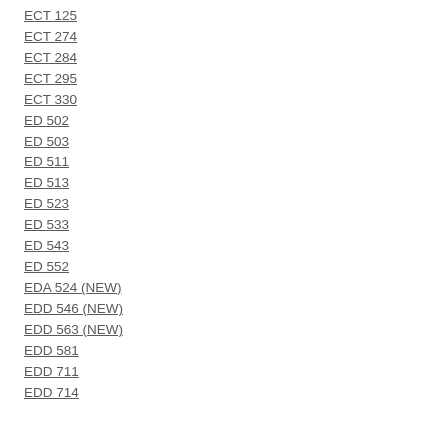ECT 125
ECT 274
ECT 284
ECT 295
ECT 330
ED 502
ED 503
ED 511
ED 513
ED 523
ED 533
ED 543
ED 552
EDA 524 (NEW)
EDD 546 (NEW)
EDD 563 (NEW)
EDD 581
EDD 711
EDD 714